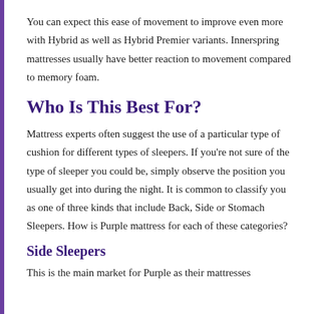You can expect this ease of movement to improve even more with Hybrid as well as Hybrid Premier variants. Innerspring mattresses usually have better reaction to movement compared to memory foam.
Who Is This Best For?
Mattress experts often suggest the use of a particular type of cushion for different types of sleepers. If you're not sure of the type of sleeper you could be, simply observe the position you usually get into during the night. It is common to classify you as one of three kinds that include Back, Side or Stomach Sleepers. How is Purple mattress for each of these categories?
Side Sleepers
This is the main market for Purple as their mattresses